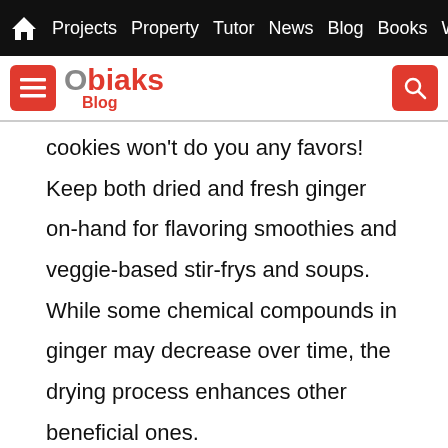Projects  Property  Tutor  News  Blog  Books  Weather
[Figure (logo): Obiaks Blog logo with hamburger menu button and search button]
cookies won't do you any favors! Keep both dried and fresh ginger on-hand for flavoring smoothies and veggie-based stir-frys and soups. While some chemical compounds in ginger may decrease over time, the drying process enhances other beneficial ones.
. It's a natural way to relieve period pain.
Out of all of the research done on ginger's pain-relieving properties, results show it helps with